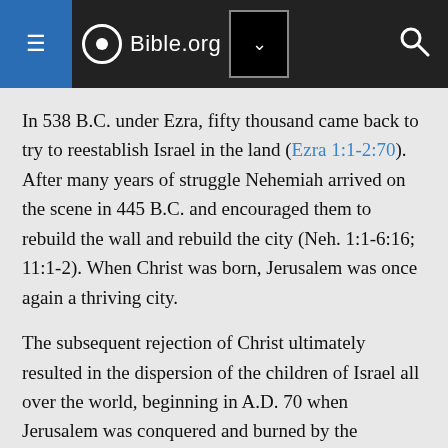Bible.org
In 538 B.C. under Ezra, fifty thousand came back to try to reestablish Israel in the land (Ezra 1:1-2:70). After many years of struggle Nehemiah arrived on the scene in 445 B.C. and encouraged them to rebuild the wall and rebuild the city (Neh. 1:1-6:16; 11:1-2). When Christ was born, Jerusalem was once again a thriving city.
The subsequent rejection of Christ ultimately resulted in the dispersion of the children of Israel all over the world, beginning in A.D. 70 when Jerusalem was conquered and burned by the Romans.
In the twentieth century the children of Israel have begun their return to their ancient land, signaling what may well be the beginning of the final chapters of Israel's...